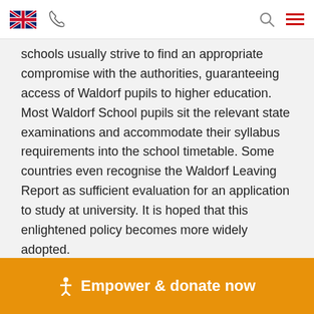[UK flag] [phone icon] [search icon] [menu icon]
schools usually strive to find an appropriate compromise with the authorities, guaranteeing access of Waldorf pupils to higher education. Most Waldorf School pupils sit the relevant state examinations and accommodate their syllabus requirements into the school timetable. Some countries even recognise the Waldorf Leaving Report as sufficient evaluation for an application to study at university. It is hoped that this enlightened policy becomes more widely adopted.
Gerd Kellermann/Martyn Rawson
Empower & donate now